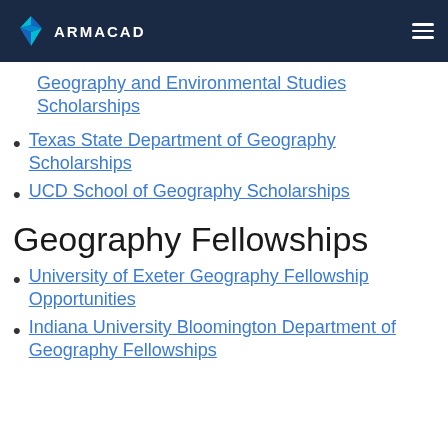ARMACAD
Geography and Environmental Studies Scholarships
Texas State Department of Geography Scholarships
UCD School of Geography Scholarships
Geography Fellowships
University of Exeter Geography Fellowship Opportunities
Indiana University Bloomington Department of Geography Fellowships